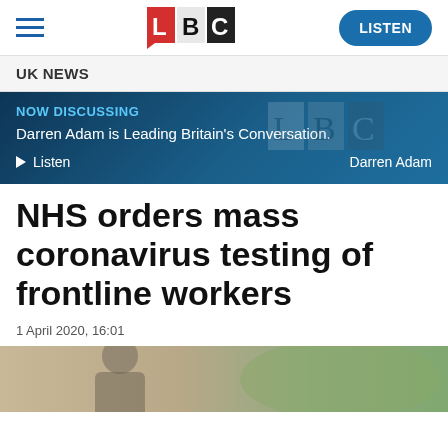LBC — LISTEN
UK NEWS
NOW DISCUSSING
Darren Adam is Leading Britain's Conversation.
▶ Listen    Darren Adam
NHS orders mass coronavirus testing of frontline workers
1 April 2020, 16:01
[Figure (photo): Photo strip at bottom of page showing a person, partially visible]